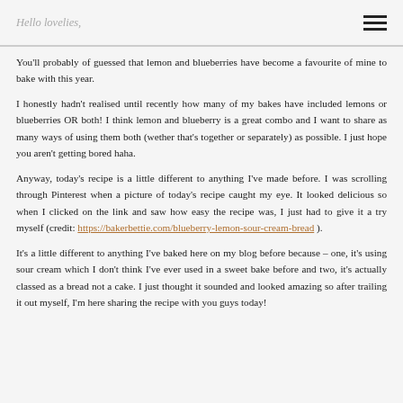Hello lovelies,
You'll probably of guessed that lemon and blueberries have become a favourite of mine to bake with this year.
I honestly hadn't realised until recently how many of my bakes have included lemons or blueberries OR both! I think lemon and blueberry is a great combo and I want to share as many ways of using them both (wether that's together or separately) as possible. I just hope you aren't getting bored haha.
Anyway, today's recipe is a little different to anything I've made before. I was scrolling through Pinterest when a picture of today's recipe caught my eye. It looked delicious so when I clicked on the link and saw how easy the recipe was, I just had to give it a try myself (credit: https://bakerbettie.com/blueberry-lemon-sour-cream-bread ).
It's a little different to anything I've baked here on my blog before because – one, it's using sour cream which I don't think I've ever used in a sweet bake before and two, it's actually classed as a bread not a cake. I just thought it sounded and looked amazing so after trailing it out myself, I'm here sharing the recipe with you guys today!